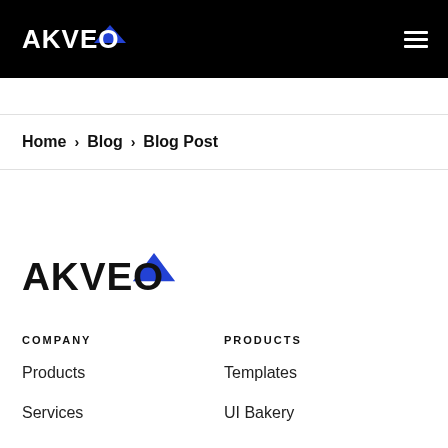AKVEO [logo with blue triangle] [hamburger menu]
Home > Blog > Blog Post
[Figure (logo): AKVEO logo with blue triangle arrow on white background]
COMPANY
PRODUCTS
Products
Templates
Services
UI Bakery